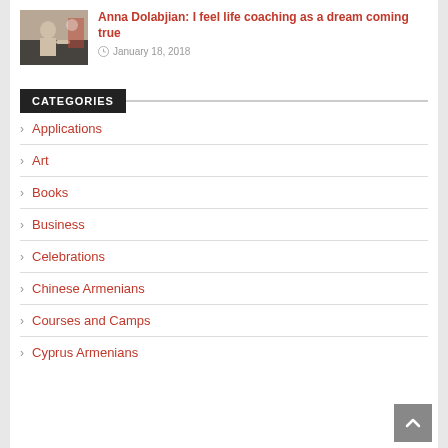[Figure (photo): Thumbnail photo of a person speaking or presenting at an event, with a banner visible in the background.]
Anna Dolabjian: I feel life coaching as a dream coming true
January 18, 2018
CATEGORIES
Applications
Art
Books
Business
Celebrations
Chinese Armenians
Courses and Camps
Cyprus Armenians